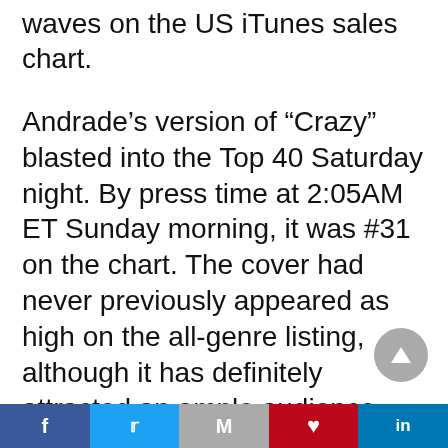waves on the US iTunes sales chart.
Andrade’s version of “Crazy” blasted into the Top 40 Saturday night. By press time at 2:05AM ET Sunday morning, it was #31 on the chart. The cover had never previously appeared as high on the all-genre listing, although it has definitely attracted an ample audience over the years. The Spotify audio boasts over 40 million streams, while the video has surpassed the 20 million mark on YouTube.
“Crazy” appears in the premiere installment
[Figure (other): Scroll-to-top button: circular grey button with upward-pointing triangle arrow]
Facebook | Twitter | Gmail | Pinterest | LinkedIn share buttons